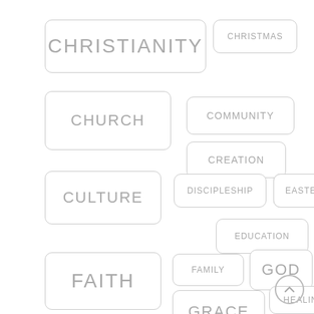[Figure (infographic): Tag cloud / category index with rounded-rectangle tag boxes of varying sizes showing religion and Christianity related topics: CHRISTIANITY, CHRISTMAS, CHURCH, COMMUNITY, CREATION, CULTURE, DISCIPLESHIP, EASTER, EDUCATION, FAITH, FAMILY, GOD, GRACE, HEALING, HISTORY, and a scroll-up button]
CHRISTIANITY
CHRISTMAS
CHURCH
COMMUNITY
CREATION
CULTURE
DISCIPLESHIP
EASTER
EDUCATION
FAITH
FAMILY
GOD
GRACE
HEALING
HISTORY